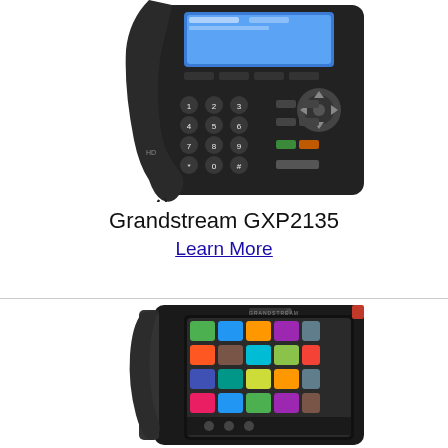[Figure (photo): Grandstream GXP2135 IP desk phone with handset, keypad, color display, and side buttons]
Grandstream GXP2135
Learn More
[Figure (photo): Grandstream touchscreen IP desk phone with color touchscreen display and handset cradle]